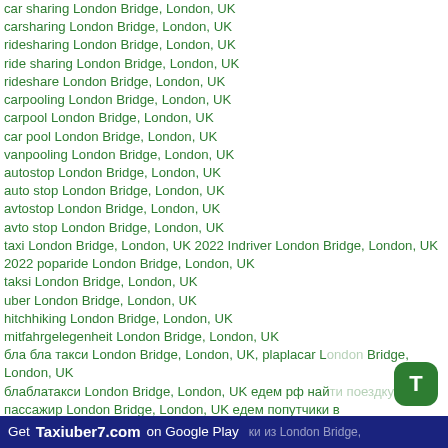car sharing London Bridge, London, UK
carsharing London Bridge, London, UK
ridesharing London Bridge, London, UK
ride sharing London Bridge, London, UK
rideshare London Bridge, London, UK
carpooling London Bridge, London, UK
carpool London Bridge, London, UK
car pool London Bridge, London, UK
vanpooling London Bridge, London, UK
autostop London Bridge, London, UK
auto stop London Bridge, London, UK
avtostop London Bridge, London, UK
avto stop London Bridge, London, UK
taxi London Bridge, London, UK 2022 Indriver London Bridge, London, UK 2022 poparide London Bridge, London, UK
taksi London Bridge, London, UK
uber London Bridge, London, UK
hitchhiking London Bridge, London, UK
mitfahrgelegenheit London Bridge, London, UK
бла бла такси London Bridge, London, UK, plaplacar London Bridge, London, UK
блаблатакси London Bridge, London, UK едем рф найти поездку как пассажир London Bridge, London, UK едем попутчики в
такси из London Bridge,
London, UK попутчик онлайн London Bridge, London, UK бла
Get Taxiuber7.com on Google Play